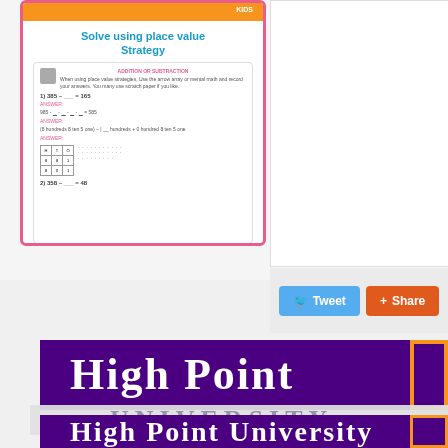[Figure (screenshot): A pink-bordered educational card showing 'Solve using place value Strategy' with a worksheet thumbnail including addition/subtraction problems, a place value table, and dot arrays]
[Figure (screenshot): White panel area on the right side]
[Figure (screenshot): Tweet and Share social media buttons on light gray background]
[Figure (logo): High Point University logo banner - purple background with white serif text 'HIGH POINT' and orange bordered box]
[Figure (logo): High Point University logo banner - partially overlapped, showing 'UNIVERSITY' text]
[Figure (logo): High Point University logo banner - second full instance, purple background with white serif text 'HIGH POINT UNIVERSITY']